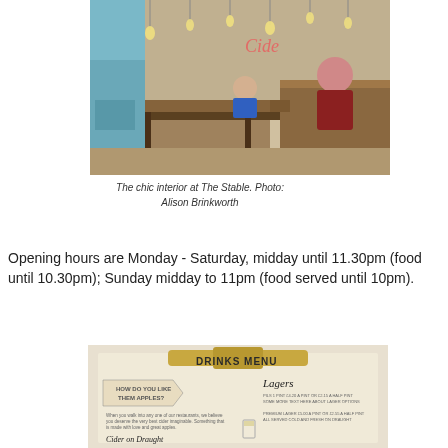[Figure (photo): Interior of The Stable bar/restaurant showing long wooden communal tables with bench seating, Edison pendant bulbs hanging from ceiling, people seated eating and drinking, with a 'Cider' neon/chalk sign in background]
The chic interior at The Stable. Photo: Alison Brinkworth
Opening hours are Monday - Saturday, midday until 11.30pm (food until 10.30pm); Sunday midday to 11pm (food served until 10pm).
[Figure (photo): A drinks menu on a clipboard showing 'DRINKS MENU' header, with sections for Lagers and Cider on Draught]